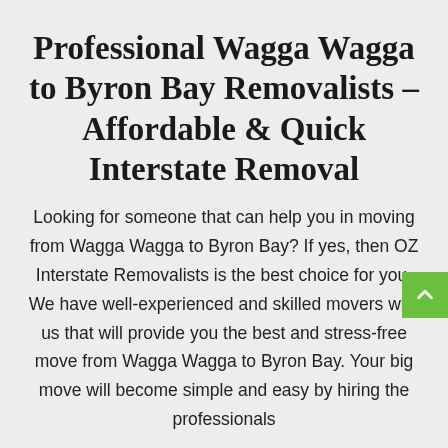Professional Wagga Wagga to Byron Bay Removalists – Affordable & Quick Interstate Removal
Looking for someone that can help you in moving from Wagga Wagga to Byron Bay? If yes, then OZ Interstate Removalists is the best choice for you. We have well-experienced and skilled movers with us that will provide you the best and stress-free move from Wagga Wagga to Byron Bay. Your big move will become simple and easy by hiring the professionals